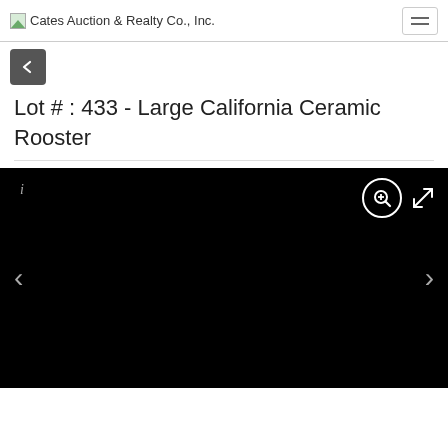Cates Auction & Realty Co., Inc.
Lot # : 433 - Large California Ceramic Rooster
[Figure (screenshot): Black image viewer panel with zoom and expand icons in top right, left/right navigation arrows, and an info 'i' icon in top left]